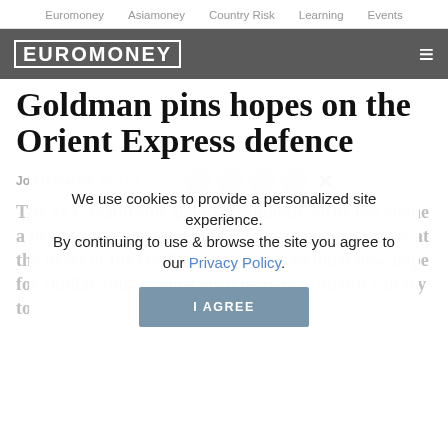Euromoney   Asiamoney   Country Risk   Learning   Events
[Figure (logo): Euromoney logo in white text on dark grey header bar with hamburger menu icon]
Goldman pins hopes on the Orient Express defence
Jon Macaskill  May 04, 2010
We use cookies to provide a personalized site experience.
By continuing to use & browse the site you agree to our Privacy Policy.
The SEC fraud suit against Goldman Sachs has shone a bright light on the exploitation of the useful idiots at the heart of the credit crisis. Goldman must now hope for similar suits against rival dealers so that it can try to